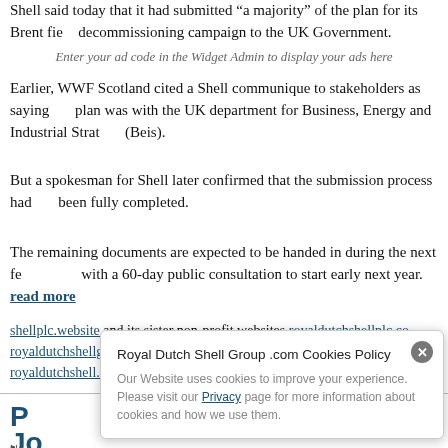Shell said today that it had submitted “a majority” of the plan for its Brent field decommissioning campaign to the UK Government.
Enter your ad code in the Widget Admin to display your ads here
Earlier, WWF Scotland cited a Shell communique to stakeholders as saying the plan was with the UK department for Business, Energy and Industrial Strategy (Beis).
But a spokesman for Shell later confirmed that the submission process had not been fully completed.
The remaining documents are expected to be handed in during the next few weeks, with a 60-day public consultation to start early next year.
read more
shellplc.website and its sister non-profit websites royaldutchshellplc.com, royaldutchshellgroup.com, shellenergy.website, shellnazihistory.com, royaldutchshell.website, johndonovan.website, shellnews.net and sh... and media f...
Royal Dutch Shell Group .com Cookies Policy
Our Website uses cookies to improve your experience. Please visit our Privacy page for more information about cookies and how we use them.
P... J... No...